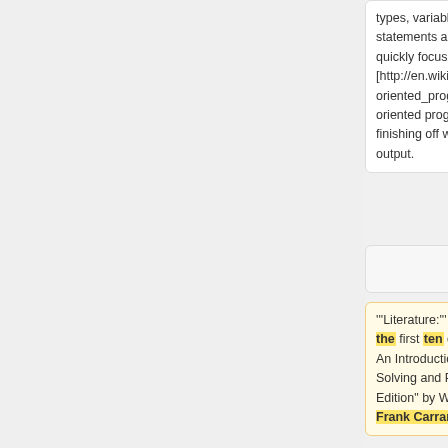types, variables, conditional statements and loops, before quickly focusing on [http://en.wikipedia.org/wiki/Object-oriented_programming object oriented programming], and finishing off with file input / output.
types, variables, conditional statements and loops, before quickly focusing on [http://en.wikipedia.org/wiki/Object-oriented_programming object oriented programming], and finishing off with file input / output.
'''Literature:''' In the WS 2010/11, the first ten chapters of "Java: An Introduction to Problem Solving and Programming, 5th Edition" by Walter Savitch and Frank Carrano
'''Literature:''' The first eleven chapters of "Java: An Introduction to Problem Solving and Programming, 6th Edition" by Walter Savitch are covered. Many students found the